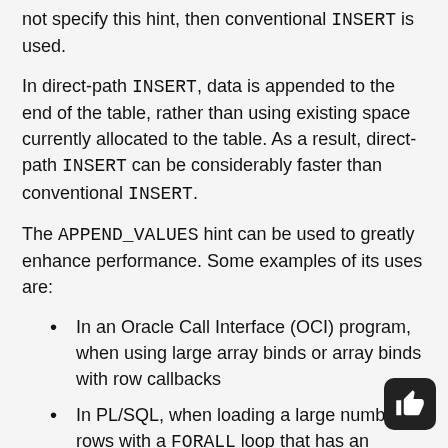not specify this hint, then conventional INSERT is used.
In direct-path INSERT, data is appended to the end of the table, rather than using existing space currently allocated to the table. As a result, direct-path INSERT can be considerably faster than conventional INSERT.
The APPEND_VALUES hint can be used to greatly enhance performance. Some examples of its uses are:
In an Oracle Call Interface (OCI) program, when using large array binds or array binds with row callbacks
In PL/SQL, when loading a large number of rows with a FORALL loop that has an INSERT statement with a VALUES clause
The APPEND_VALUES hint is only supported with the VALUES clause of the INSERT statement. If you spec the APPEND_VALUES hint with the subquery syntax of